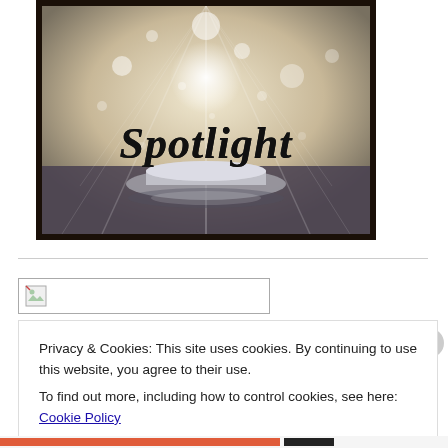[Figure (illustration): A decorative 'Spotlight' image with dark frame border, showing a stage spotlight scene with a circular platform/pedestal, bokeh lights, and the word 'Spotlight' in ornate serif text]
[Figure (other): A broken image placeholder icon in a rectangular box]
Privacy & Cookies: This site uses cookies. By continuing to use this website, you agree to their use.
To find out more, including how to control cookies, see here: Cookie Policy

Close and accept